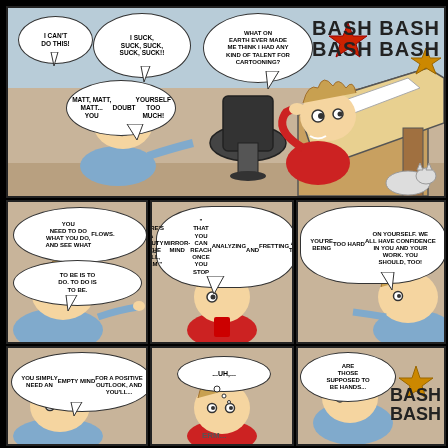[Figure (illustration): Comic strip page with 7 panels showing two cartoon characters discussing self-doubt and cartooning. Panel 1 (large): Character at drawing desk bashing head, another character observing. Speech bubbles: 'I CAN'T DO THIS!', 'I SUCK, SUCK, SUCK, SUCK, SUCK!!', 'WHAT ON EARTH EVER MADE ME THINK I HAD ANY KIND OF TALENT FOR CARTOONING?', 'MATT, MATT, MATT... YOU DOUBT YOURSELF TOO MUCH!', 'BASH BASH BASH BASH'. Row 2 panels: 'YOU NEED TO DO WHAT YOU DO, AND SEE WHAT FLOWS. TO BE IS TO DO. TO DO IS TO BE.', 'THERE'S A BEAUTY IN THE STILL CALM MIRROR-MIND THAT YOU CAN REACH ONCE YOU STOP ANALYZING AND FRETTING ABOUT THINGS!', 'YOU'RE BEING TOO HARD ON YOURSELF. WE ALL HAVE CONFIDENCE IN YOU AND YOUR WORK. YOU SHOULD, TOO!'. Row 3 panels: 'YOU SIMPLY NEED AN EMPTY MIND FOR A POSITIVE OUTLOOK, AND YOU'LL...', '...UH...', 'ARE THOSE SUPPOSED TO BE HANDS...', 'BASH BASH']